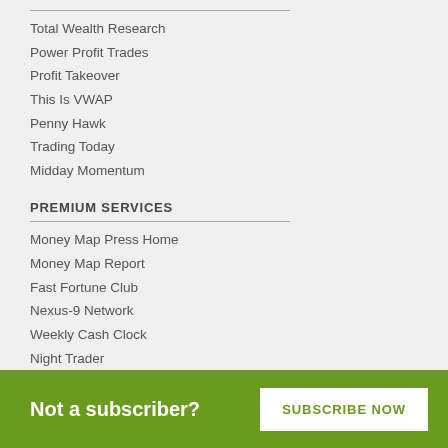Total Wealth Research
Power Profit Trades
Profit Takeover
This Is VWAP
Penny Hawk
Trading Today
Midday Momentum
PREMIUM SERVICES
Money Map Press Home
Money Map Report
Fast Fortune Club
Nexus-9 Network
Weekly Cash Clock
Night Trader
Microcurrency Trader
Hyperdrive Portfolio
Operation Surge Strike
Rocket Wealth Initiative
Not a subscriber?  SUBSCRIBE NOW